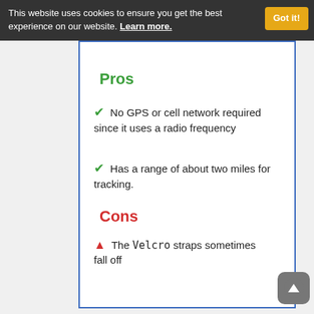This website uses cookies to ensure you get the best experience on our website. Learn more. Got it!
Pros
No GPS or cell network required since it uses a radio frequency
Has a range of about two miles for tracking.
Cons
The Velcro straps sometimes fall off